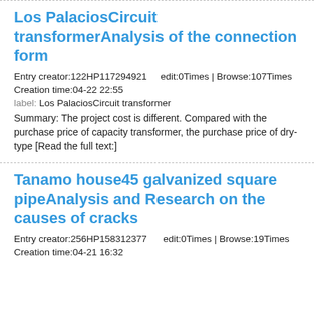Los PalaciosCircuit transformerAnalysis of the connection form
Entry creator:122HP117294921     edit:0Times | Browse:107Times
Creation time:04-22 22:55
label: Los PalaciosCircuit transformer
Summary: The project cost is different. Compared with the purchase price of capacity transformer, the purchase price of dry-type [Read the full text:]
Tanamo house45 galvanized square pipeAnalysis and Research on the causes of cracks
Entry creator:256HP158312377      edit:0Times | Browse:19Times
Creation time:04-21 16:32